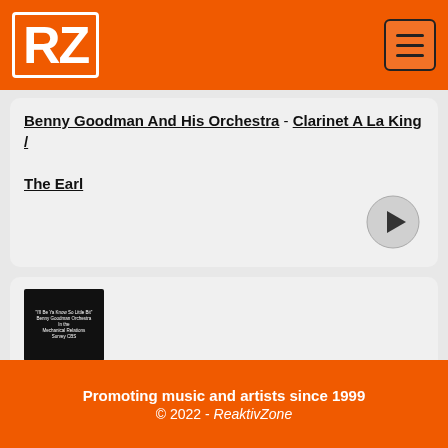RZ
Benny Goodman And His Orchestra - Clarinet A La King / The Earl
Benny Goodman And His Orchestra - Solo Flight / At The Darktown Strutters' Ball
Promoting music and artists since 1999
© 2022 - ReaktivZone